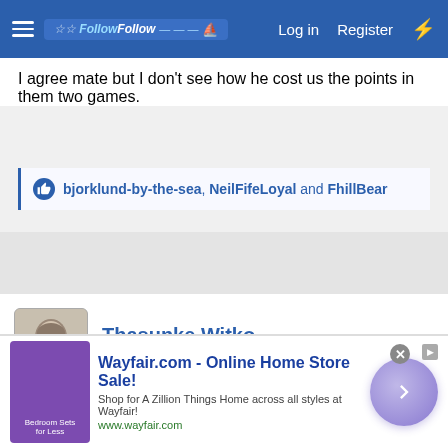FollowFollow — Log in  Register
I agree mate but I don't see how he cost us the points in them two games.
bjorklund-by-the-sea, NeilFifeLoyal and FhillBear
[Figure (other): Gray advertisement gap area]
Thasunke Witko
Well-Known Member
Oct 26, 2021    #10
Harrogate Bluenose said:
Honestly despise him more than Clancy. A sleekit fud that knows what
[Figure (screenshot): Wayfair.com advertisement banner: Wayfair.com - Online Home Store Sale! Shop for A Zillion Things Home across all styles at Wayfair! www.wayfair.com]